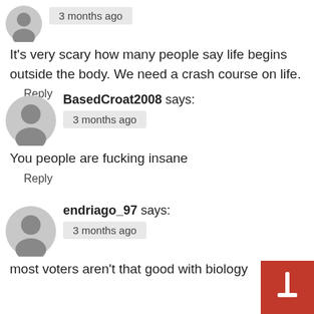3 months ago
It’s very scary how many people say life begins outside the body. We need a crash course on life.
Reply
BasedCroat2008 says:
3 months ago
You people are fucking insane
Reply
endriago_97 says:
3 months ago
most voters aren’t that good with biology